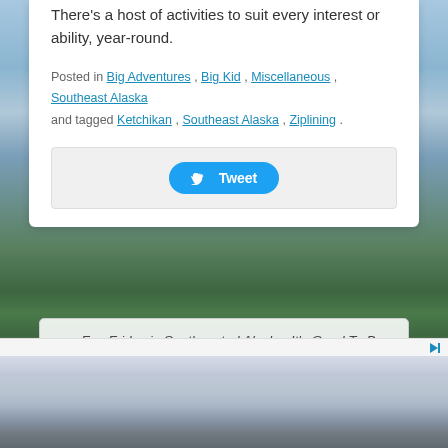There's a host of activities to suit every interest or ability, year-round.
Posted in Big Adventures, Big Kid, Miscellaneous, Southeast Alaska and tagged Ketchikan, Southeast Alaska, Ziplining.
[Figure (screenshot): Tweet button inside a light gray rounded box]
← Fun Friday in Southcentral Alaska: It's Good To Be Home
Sitka, Part Two. Family Travel in Southeast Alaska →
[Figure (photo): Mountain landscape with green trees and pale sky at bottom of page]